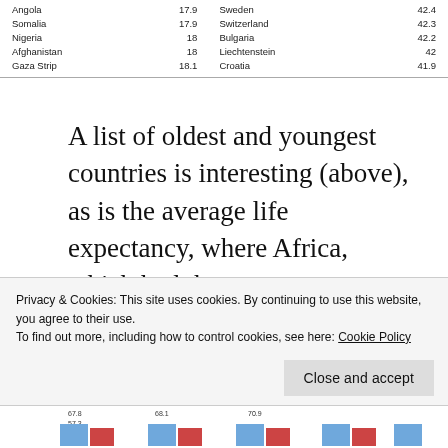| Angola | 17.9 | Sweden | 42.4 |
| Somalia | 17.9 | Switzerland | 42.3 |
| Nigeria | 18 | Bulgaria | 42.2 |
| Afghanistan | 18 | Liechtenstein | 42 |
| Gaza Strip | 18.1 | Croatia | 41.9 |
A list of oldest and youngest countries is interesting (above), as is the average life expectancy, where Africa, which had the most room to make up, adds more than a decade.
Privacy & Cookies: This site uses cookies. By continuing to use this website, you agree to their use.
To find out more, including how to control cookies, see here: Cookie Policy
[Figure (other): Partial bar chart visible at the bottom of the page, showing values 67.8, 57.3, 68.1, 70.9 with blue and red bars]